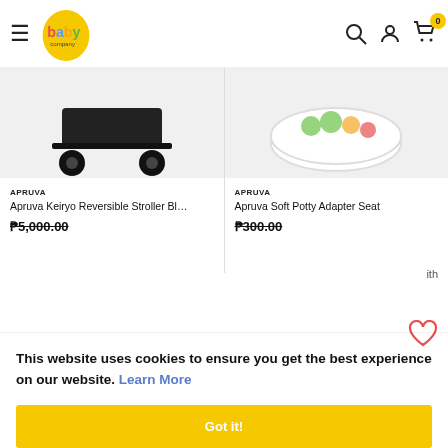Baby Company - navigation header with logo, hamburger menu, search, account, and cart icons
[Figure (photo): Product image of Apruva Keiryo Reversible Stroller - partial view showing wheels/base in gray background]
APRUVA
Apruva Keiryo Reversible Stroller Bl…
₱5,000.00 (strikethrough)
[Figure (photo): Product image of Apruva Soft Potty Adapter Seat - partial view showing bowl with fruit design on gray background]
APRUVA
Apruva Soft Potty Adapter Seat
₱300.00 (strikethrough)
ith
This website uses cookies to ensure you get the best experience on our website. Learn More
Got it!